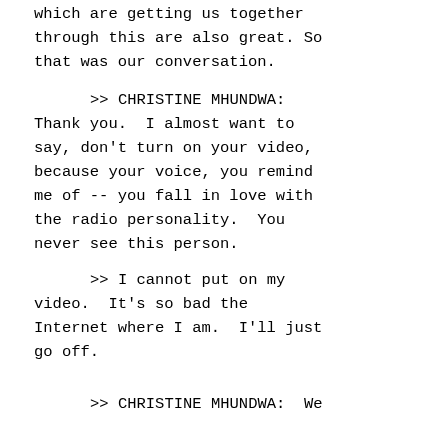which are getting us together through this are also great. So that was our conversation.
>> CHRISTINE MHUNDWA: Thank you.  I almost want to say, don't turn on your video, because your voice, you remind me of -- you fall in love with the radio personality.  You never see this person.
>> I cannot put on my video.  It's so bad the Internet where I am.  I'll just go off.
>> CHRISTINE MHUNDWA:  We